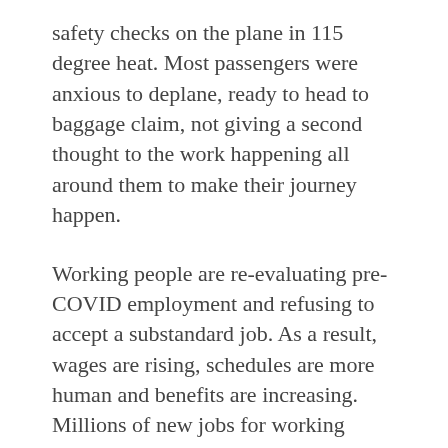safety checks on the plane in 115 degree heat. Most passengers were anxious to deplane, ready to head to baggage claim, not giving a second thought to the work happening all around them to make their journey happen.
Working people are re-evaluating pre-COVID employment and refusing to accept a substandard job. As a result, wages are rising, schedules are more human and benefits are increasing. Millions of new jobs for working people, mostly unionized, will result from the $3.5 trillion budget blueprint moving through Congress. The latest Gallup poll found that 68% of Americans — and 77% of people 18-34 — have a positive opinion of unions. And the devastating